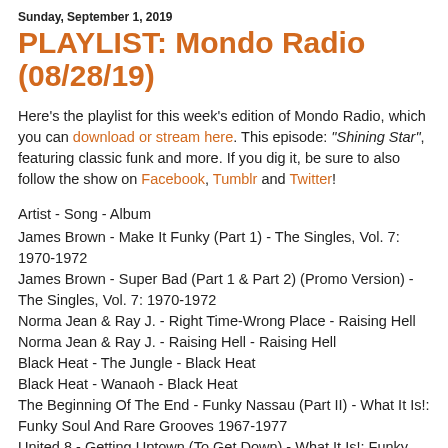Sunday, September 1, 2019
PLAYLIST: Mondo Radio (08/28/19)
Here's the playlist for this week's edition of Mondo Radio, which you can download or stream here. This episode: "Shining Star", featuring classic funk and more. If you dig it, be sure to also follow the show on Facebook, Tumblr and Twitter!
Artist - Song - Album
James Brown - Make It Funky (Part 1) - The Singles, Vol. 7: 1970-1972
James Brown - Super Bad (Part 1 & Part 2) (Promo Version) - The Singles, Vol. 7: 1970-1972
Norma Jean & Ray J. - Right Time-Wrong Place - Raising Hell
Norma Jean & Ray J. - Raising Hell - Raising Hell
Black Heat - The Jungle - Black Heat
Black Heat - Wanaoh - Black Heat
The Beginning Of The End - Funky Nassau (Part II) - What It Is!: Funky Soul And Rare Grooves 1967-1977
United 8 - Getting Uptown (To Get Down) - What It Is!: Funky